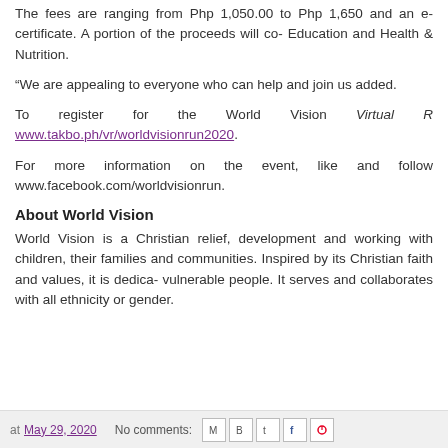The fees are ranging from Php 1,050.00 to Php 1,650 and an e-certificate. A portion of the proceeds will co- Education and Health & Nutrition.
“We are appealing to everyone who can help and join us added.
To register for the World Vision Virtual R www.takbo.ph/vr/worldvisionrun2020.
For more updates on the event, like and follow www.facebook.com/worldvisionrun.
About World Vision
World Vision is a Christian relief, development and working with children, their families and communities. Inspired by its Christian faith and values, it is dedica- vulnerable people. It serves and collaborates with all ethnicity or gender.
at May 29, 2020   No comments: